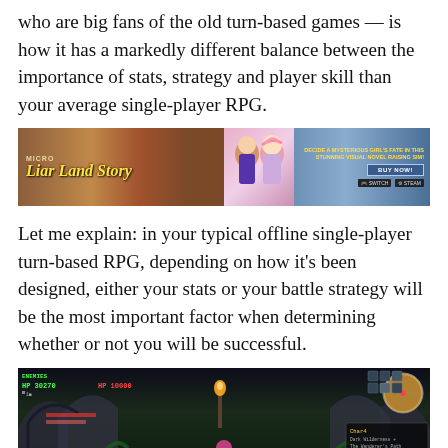who are big fans of the old turn-based games — is how it has a markedly different balance between the importance of stats, strategy and player skill than your average single-player RPG.
[Figure (photo): Advertisement banner for 'Liar Land Story' visual novel game showing anime characters and buy now button with Nintendo Switch and Steam logos]
Let me explain: in your typical offline single-player turn-based RPG, depending on how it's been designed, either your stats or your battle strategy will be the most important factor when determining whether or not you will be successful.
[Figure (screenshot): Video game screenshot showing a dark dungeon/castle interior battle scene with HUD elements showing HP 30270, HP 10000, minimap, and character bars at the bottom]